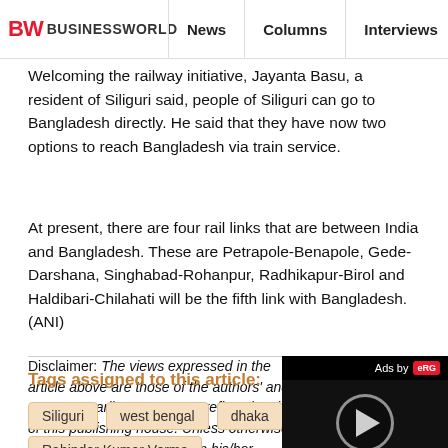BW BUSINESSWORLD | News | Columns | Interviews | BW
Welcoming the railway initiative, Jayanta Basu, a resident of Siliguri said, people of Siliguri can go to Bangladesh directly. He said that they have now two options to reach Bangladesh via train service.
At present, there are four rail links that are between India and Bangladesh. These are Petrapole-Benapole, Gede-Darshana, Singhabad-Rohanpur, Radhikapur-Birol and Haldibari-Chilahati will be the fifth link with Bangladesh. (ANI)
Disclaimer: The views expressed in the article above are those of the authors' and do not necessarily represent or reflect the views of this publishing house. Unless otherwise noted, the author is writing in his/her personal capacity. They are not intended and should not be thought to represent official ideas, attitudes, or policies of any agency or institution.
Tags assigned to this article:
Siliguri
west bengal
dhaka
bangladesh
Rabinder Kumar Verma
[Figure (other): Video ad player overlay showing a play button circle on dark background with 'Ads by eRG' label in top right corner.]